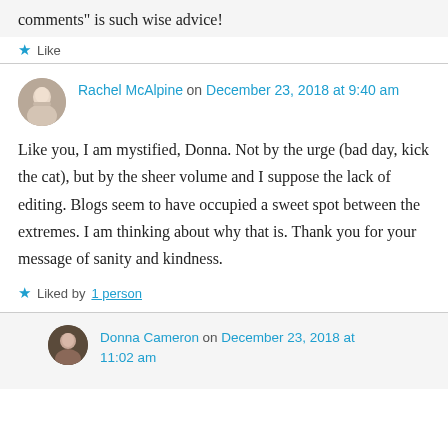comments" is such wise advice!
Like
Rachel McAlpine on December 23, 2018 at 9:40 am
Like you, I am mystified, Donna. Not by the urge (bad day, kick the cat), but by the sheer volume and I suppose the lack of editing. Blogs seem to have occupied a sweet spot between the extremes. I am thinking about why that is. Thank you for your message of sanity and kindness.
Liked by 1 person
Donna Cameron on December 23, 2018 at 11:02 am